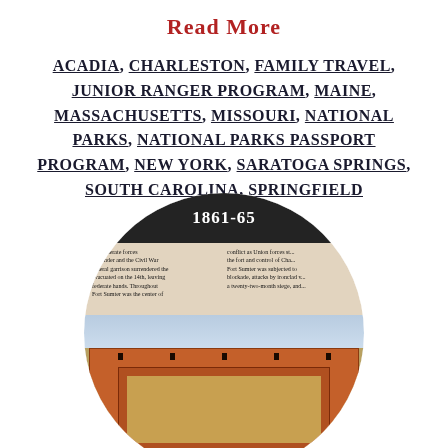Read More
ACADIA, CHARLESTON, FAMILY TRAVEL, JUNIOR RANGER PROGRAM, MAINE, MASSACHUSETTS, MISSOURI, NATIONAL PARKS, NATIONAL PARKS PASSPORT PROGRAM, NEW YORK, SARATOGA SPRINGS, SOUTH CAROLINA, SPRINGFIELD
[Figure (photo): Circular image showing a National Parks passport stamp/exhibit for 1861-65 with text about Confederate forces and Fort Sumter, overlaid on a photo of Fort Sumter from above.]